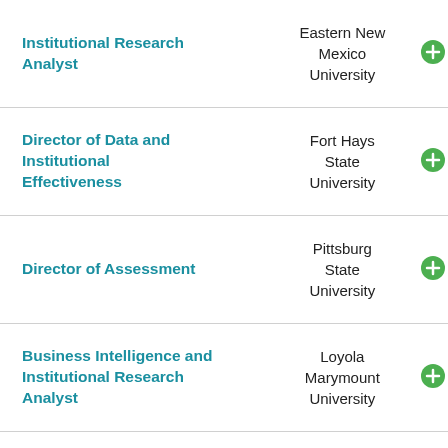| Job Title | Institution |  |
| --- | --- | --- |
| Institutional Research Analyst | Eastern New Mexico University | + |
| Director of Data and Institutional Effectiveness | Fort Hays State University | + |
| Director of Assessment | Pittsburg State University | + |
| Business Intelligence and Institutional Research Analyst | Loyola Marymount University | + |
| Associate Vice President |  |  |